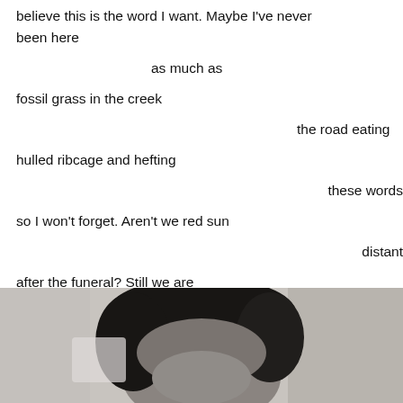believe this is the word I want. Maybe I've never been here

as much as

fossil grass in the creek

the road eating

hulled ribcage and hefting

these words

so I won't forget. Aren't we red sun

distant

after the funeral? Still we are
crane, now, maybe bear-
willows—consuming thick
red muscle.
[Figure (photo): Black and white photograph of a person with dark short hair, partially cropped, showing the top half of the head and face from approximately forehead down, with a light background.]